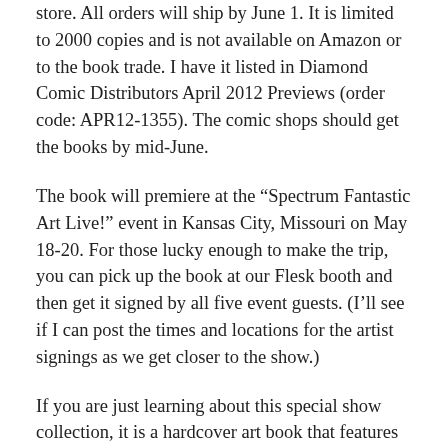store. All orders will ship by June 1. It is limited to 2000 copies and is not available on Amazon or to the book trade. I have it listed in Diamond Comic Distributors April 2012 Previews (order code: APR12-1355). The comic shops should get the books by mid-June.
The book will premiere at the “Spectrum Fantastic Art Live!” event in Kansas City, Missouri on May 18-20. For those lucky enough to make the trip, you can pick up the book at our Flesk booth and then get it signed by all five event guests. (I’ll see if I can post the times and locations for the artist signings as we get closer to the show.)
If you are just learning about this special show collection, it is a hardcover art book that features the five special guests: Android Jones, Phil Hale, Mike Mignola, Iain McCaig and Brom.
Here are some more pictures showing the actual book